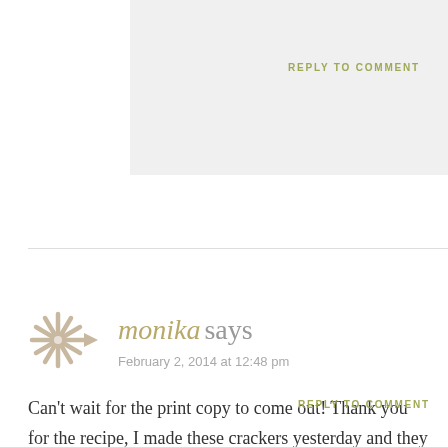REPLY TO COMMENT
monika says
February 2, 2014 at 12:48 pm
Can't wait for the print copy to come out! Thank you for the recipe, I made these crackers yesterday and they were a hit 🙂 I am trying to stay away from grains for a while, but couldn't resist to eat a bunch! Monika
REPLY TO COMMENT